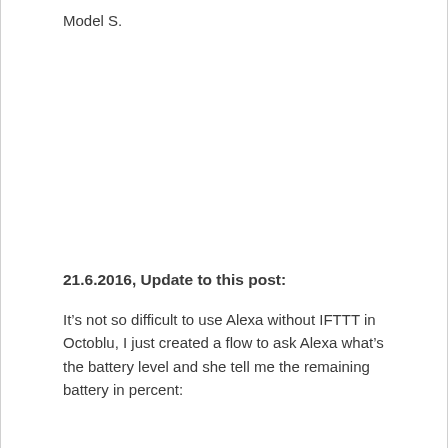Model S.
21.6.2016, Update to this post:
It’s not so difficult to use Alexa without IFTTT in Octoblu, I just created a flow to ask Alexa what’s the battery level and she tell me the remaining battery in percent: